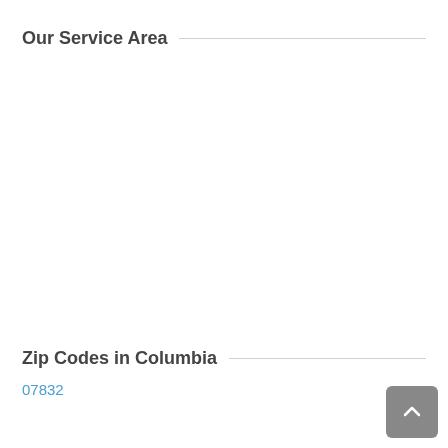Our Service Area
Zip Codes in Columbia
07832